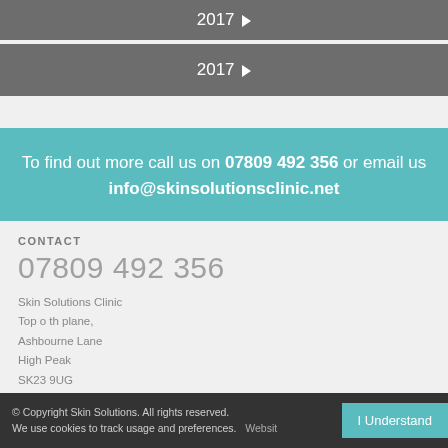2017 ▶
2017 ▶
To find out more call us on 07809 492 356 or email us info@skinsolutionsclinic.net
CONTACT
07809 492 356
Skin Solutions Clinic
Top o th plane,
Ashbourne Lane
High Peak
SK23 9UG
© Copyright Skin Solutions. All rights reserved.
We use cookies to track usage and preferences.
I Understand